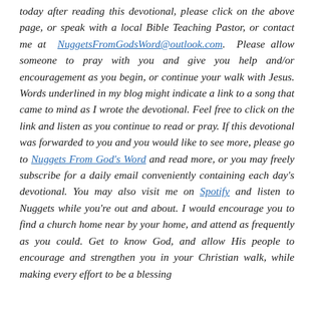today after reading this devotional, please click on the above page, or speak with a local Bible Teaching Pastor, or contact me at NuggetsFromGodsWord@outlook.com. Please allow someone to pray with you and give you help and/or encouragement as you begin, or continue your walk with Jesus. Words underlined in my blog might indicate a link to a song that came to mind as I wrote the devotional. Feel free to click on the link and listen as you continue to read or pray. If this devotional was forwarded to you and you would like to see more, please go to Nuggets From God's Word and read more, or you may freely subscribe for a daily email conveniently containing each day's devotional. You may also visit me on Spotify and listen to Nuggets while you're out and about. I would encourage you to find a church home near by your home, and attend as frequently as you could. Get to know God, and allow His people to encourage and strengthen you in your Christian walk, while making every effort to be a blessing